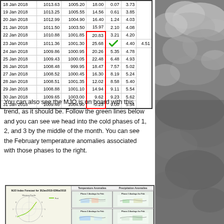| Date | Col2 | Col3 | Col4 | Col5 | Col6 |
| --- | --- | --- | --- | --- | --- |
| 18 Jan 2018 | 1013.63 | 1005.20 | 18.00 | 0.07 | 3.73 |
| 19 Jan 2018 | 1013.25 | 1005.55 | 14.56 | 0.61 | 3.85 |
| 20 Jan 2018 | 1012.99 | 1004.90 | 16.40 | 1.24 | 4.03 |
| 21 Jan 2018 | 1011.50 | 1003.50 | 15.97 | 2.10 | 4.08 |
| 22 Jan 2018 | 1010.88 | 1001.85 | 20.83 | 3.21 | 4.20 |
| 23 Jan 2018 | 1011.36 | 1001.30 | 25.68 | 4.40 | 4.51 |
| 24 Jan 2018 | 1009.86 | 1000.95 | 20.26 | 5.35 | 4.78 |
| 25 Jan 2018 | 1009.43 | 1000.05 | 22.48 | 6.48 | 4.93 |
| 26 Jan 2018 | 1008.48 | 999.95 | 18.47 | 7.57 | 5.02 |
| 27 Jan 2018 | 1008.52 | 1000.45 | 16.30 | 8.19 | 5.24 |
| 28 Jan 2018 | 1008.51 | 1001.35 | 12.02 | 8.58 | 5.40 |
| 29 Jan 2018 | 1008.88 | 1001.10 | 14.94 | 9.11 | 5.54 |
| 30 Jan 2018 | 1009.65 | 1003.00 | 9.62 | 9.23 | 5.62 |
| 31 Jan 2018 | 1009.46 | 1004.90 | -0.23 | 9.00 | 5.54 |
You can also see the MJO is on board with this trend, as it should be. Follow the green lines below and you can see we head into the cold phases of 1, 2, and 3 by the middle of the month. You can see the February temperature anomalies associated with those phases to the right.
[Figure (infographic): MJO Index Forecast chart with phase diagram on left, and Temperature Anomalies and Precipitation Anomalies panels on right showing Phase 1 and Phase 2 analog maps for February]